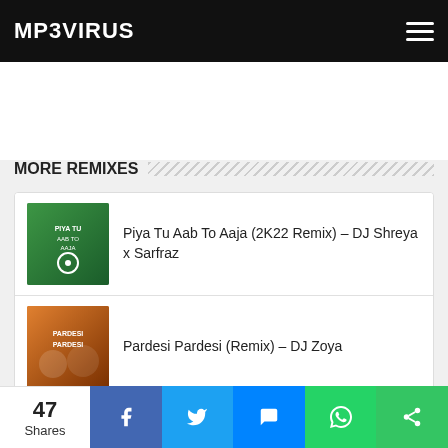MP3VIRUS
MORE REMIXES
Piya Tu Aab To Aaja (2K22 Remix) – DJ Shreya x Sarfraz
Pardesi Pardesi (Remix) – DJ Zoya
KK (Tribute Mashup) – DJ 303K
Jhoom (Remix) – DJ Dharak
47 Shares